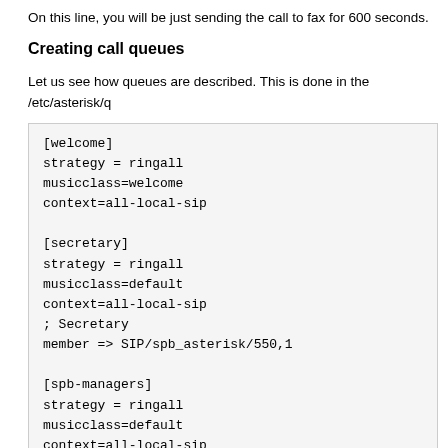On this line, you will be just sending the call to fax for 600 seconds.
Creating call queues
Let us see how queues are described. This is done in the /etc/asterisk/q
[welcome]
strategy = ringall
musicclass=welcome
context=all-local-sip

[secretary]
strategy = ringall
musicclass=default
context=all-local-sip
; Secretary
member => SIP/spb_asterisk/550,1

[spb-managers]
strategy = ringall
musicclass=default
context=all-local-sip
; Managers
member => SIP/spb_asterisk/500,1
member => SIP/spb_asterisk/501,1
; (... и т. д.)